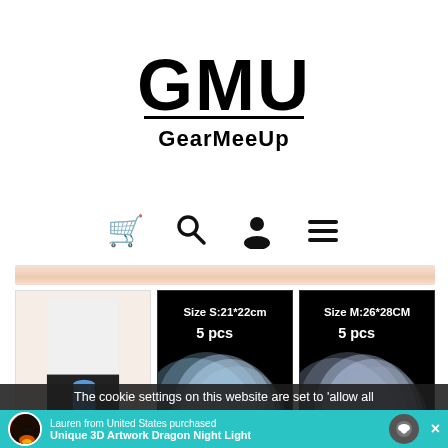[Figure (logo): GMU GearMeeUp logo with large bold GMU text and underline, subtitle GearMeeUp below]
[Figure (screenshot): Navigation icons: shopping cart, search, user profile, hamburger menu]
[Figure (photo): Horizontal light wood-grain banner/divider strip]
[Figure (photo): Three product images side by side: left - person using blue vacuum seal bag with pump; center - Size S:21*22cm 5 pcs vacuum bags on black background; right - Size M:26*28CM 5 pcs vacuum bags on black background]
The cookie settings on this website are set to 'allow all
[Figure (screenshot): Teal notification bar showing: circular image of dragon night light on left, text 'Lauren from United States purchased Unique 3D Artwork Dragon Night Light', chat bubble icon on right, and X close button]